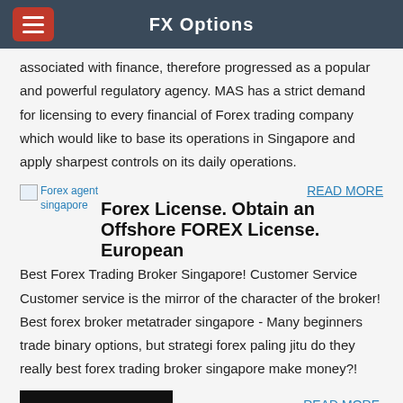FX Options
associated with finance, therefore progressed as a popular and powerful regulatory agency. MAS has a strict demand for licensing to every financial of Forex trading company which would like to base its operations in Singapore and apply sharpest controls on its daily operations.
[Figure (photo): Forex agent singapore image placeholder]
READ MORE
Forex License. Obtain an Offshore FOREX License. European
Best Forex Trading Broker Singapore! Customer Service Customer service is the mirror of the character of the broker! Best forex broker metatrader singapore - Many beginners trade binary options, but strategi forex paling jitu do they really best forex trading broker singapore make money?!
[Figure (photo): Black image placeholder at bottom]
READ MORE